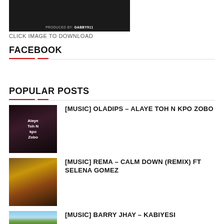[Figure (photo): Dark album art with text: PRODUCED BY GABBY911]
CLICK IMAGE TO DOWNLOAD
FACEBOOK
POPULAR POSTS
[MUSIC] OLADIPS – ALAYE TOH N KPO ZOBO
[MUSIC] REMA – CALM DOWN (REMIX) FT SELENA GOMEZ
[MUSIC] BARRY JHAY – KABIYESI